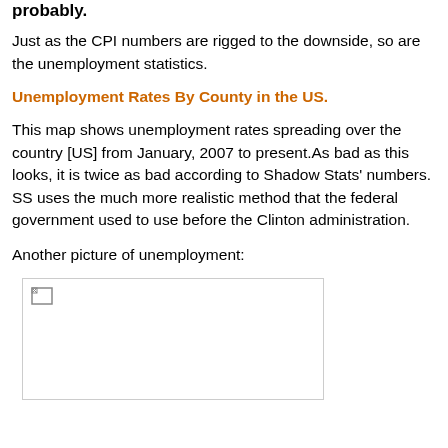probably.
Just as the CPI numbers are rigged to the downside, so are the unemployment statistics.
Unemployment Rates By County in the US.
This map shows unemployment rates spreading over the country [US] from January, 2007 to present.As bad as this looks, it is twice as bad according to Shadow Stats' numbers. SS uses the much more realistic method that the federal government used to use before the Clinton administration.
Another picture of unemployment:
[Figure (photo): Broken image placeholder representing a picture of unemployment data]